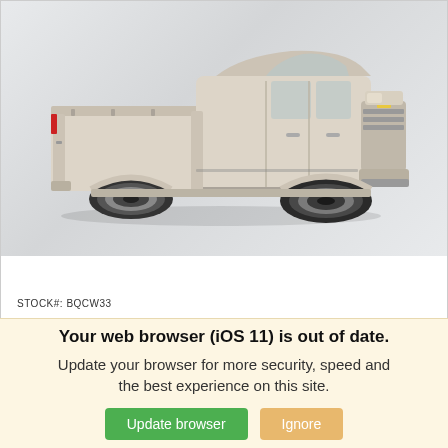[Figure (photo): Side profile photo of a light beige/cream colored Chevrolet Silverado pickup truck on a light gray gradient background]
STOCK#: BQCW33
Your web browser (iOS 11) is out of date. Update your browser for more security, speed and the best experience on this site.
Update browser
Ignore